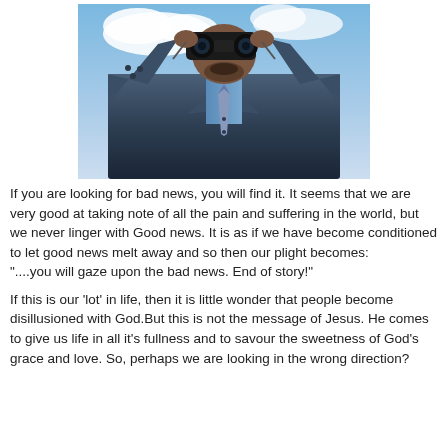[Figure (photo): A man in a dark business suit and blue dress shirt with a patterned tie, holding binoculars up to his face against a partly cloudy sky background.]
If you are looking for bad news, you will find it. It seems that we are very good at taking note of all the pain and suffering in the world, but we never linger with Good news. It is as if we have become conditioned to let good news melt away and so then our plight becomes:
"....you will gaze upon the bad news. End of story!"
If this is our 'lot' in life, then it is little wonder that people become disillusioned with God.But this is not the message of Jesus. He comes to give us life in all it's fullness and to savour the sweetness of God's grace and love. So, perhaps we are looking in the wrong direction?